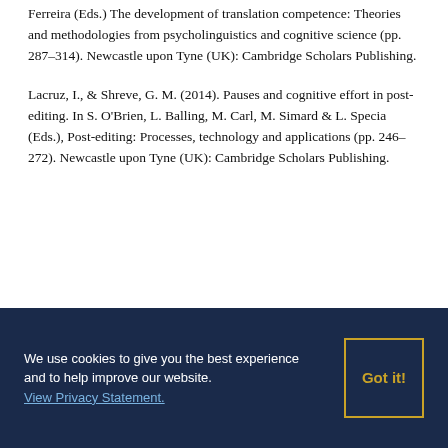Ferreira (Eds.) The development of translation competence: Theories and methodologies from psycholinguistics and cognitive science (pp. 287–314). Newcastle upon Tyne (UK): Cambridge Scholars Publishing.
Lacruz, I., & Shreve, G. M. (2014). Pauses and cognitive effort in post-editing. In S. O'Brien, L. Balling, M. Carl, M. Simard & L. Specia (Eds.), Post-editing: Processes, technology and applications (pp. 246–272). Newcastle upon Tyne (UK): Cambridge Scholars Publishing.
We use cookies to give you the best experience and to help improve our website. View Privacy Statement.